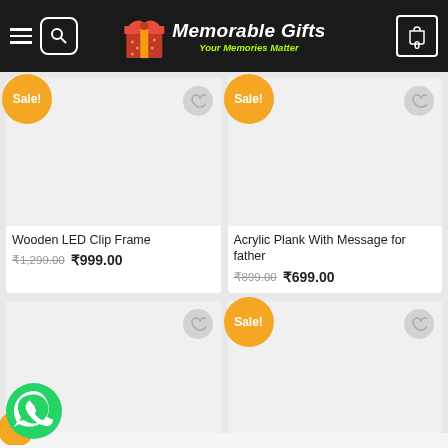Memorable Gifts - Your Memories Matter
[Figure (photo): Product image area for Wooden LED Clip Frame with Sale badge]
Wooden LED Clip Frame ₹1,299.00 ₹999.00
[Figure (photo): Product image area for Acrylic Plank With Message for father with Sale badge]
Acrylic Plank With Message for father ₹899.00 ₹699.00
[Figure (photo): Product image area with WhatsApp icon overlay]
[Figure (photo): Product image area with Sale badge]